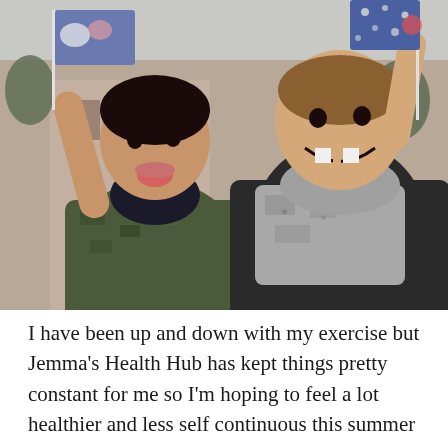[Figure (photo): Two young boys outdoors, smiling and making faces at the camera. The boy on the left is sticking out his tongue and wearing a camouflage jacket. The boy on the right is smiling broadly showing missing teeth, wearing a grey camouflage hoodie and dark jacket. Both are holding what appear to be small flags. Background shows a brick building and trees.]
I have been up and down with my exercise but Jemma's Health Hub has kept things pretty constant for me so I'm hoping to feel a lot healthier and less self continuous this summer